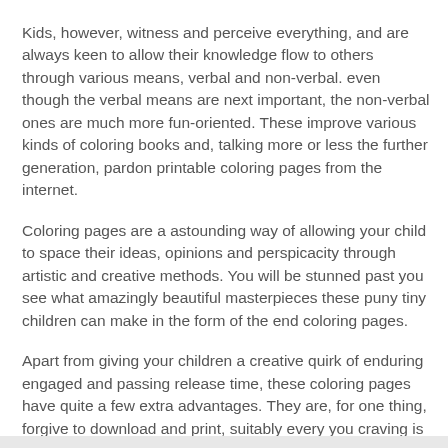Kids, however, witness and perceive everything, and are always keen to allow their knowledge flow to others through various means, verbal and non-verbal. even though the verbal means are next important, the non-verbal ones are much more fun-oriented. These improve various kinds of coloring books and, talking more or less the further generation, pardon printable coloring pages from the internet.
Coloring pages are a astounding way of allowing your child to space their ideas, opinions and perspicacity through artistic and creative methods. You will be stunned past you see what amazingly beautiful masterpieces these puny tiny children can make in the form of the end coloring pages.
Apart from giving your children a creative quirk of enduring engaged and passing release time, these coloring pages have quite a few extra advantages. They are, for one thing, forgive to download and print, suitably every you craving is a computer, an internet connection, and a printer.